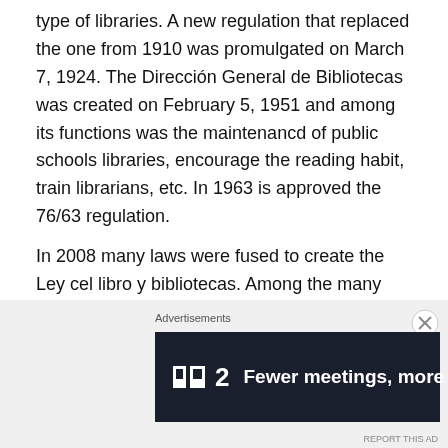type of libraries. A new regulation that replaced the one from 1910 was promulgated on March 7, 1924. The Dirección General de Bibliotecas was created on February 5, 1951 and among its functions was the maintenancd of public schools libraries, encourage the reading habit, train librarians, etc. In 1963 is approved the 76/63 regulation.
In 2008 many laws were fused to create the Ley cel libro y bibliotecas. Among the many things it establishes was the Dominican Republic Public Libraries Network (RNBP). The network includes most public libraries in the country and the new ones created in the future.
Public Libraries Characteristics
[Figure (screenshot): Advertisement banner with close button. Label 'Advertisements' above a dark banner showing a logo, the number 2, and the text 'Fewer meetings, more work.' A report/dismiss link appears at bottom right.]